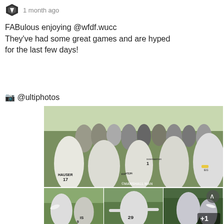[Figure (logo): Small shield/diamond logo icon]
1 month ago
FABulous enjoying @wfdf.wucc
They've had some great games and are hyped for the last few days!
📷 @ultiphotos
[Figure (photo): A group of female ultimate frisbee players in white uniforms huddling on a grass field. Player with 'HAUSER' and number 17 visible. Green field and tents in background. Watermark reads ©MARSHALL MAN.]
[Figure (photo): Three smaller photos below the main photo showing female ultimate frisbee players in action on a field. Last photo has a +1 indicator.]